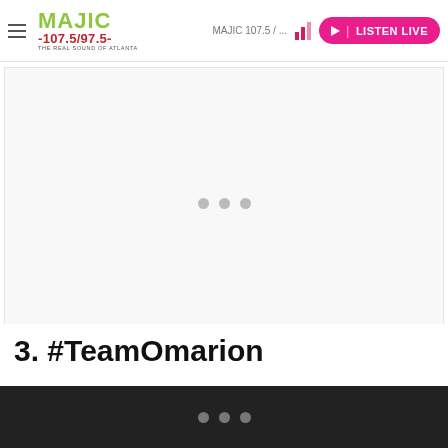[Figure (logo): Majic 107.5/97.5 radio station logo — The Real Sound of Atlanta]
MAJIC 107.5 / ... | LISTEN LIVE
[Figure (other): Loading placeholder with three grey dots in center of content area]
3. #TeamOmarion
• • •